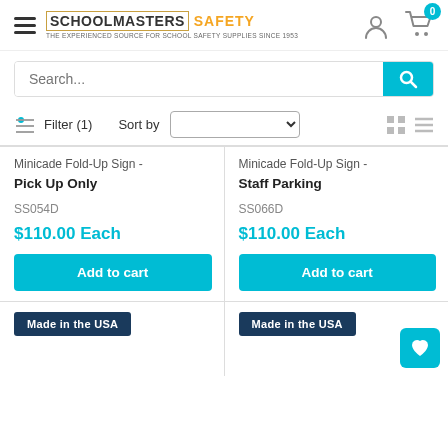[Figure (logo): Schoolmasters Safety logo with hamburger menu icon]
Search...
Filter (1)   Sort by
Minicade Fold-Up Sign - Pick Up Only
SS054D
$110.00 Each
Add to cart
Minicade Fold-Up Sign - Staff Parking
SS066D
$110.00 Each
Add to cart
Made in the USA
Made in the USA